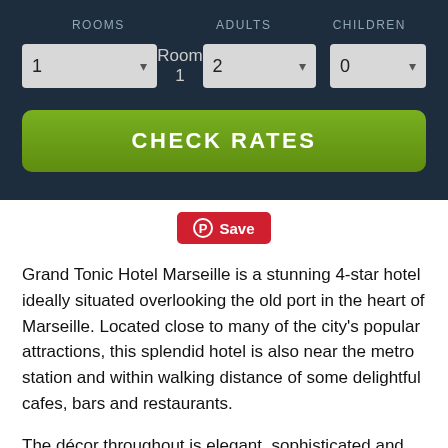[Figure (screenshot): Hotel booking widget with dropdowns for Rooms (1), Adults (2), Children (0) and a CHECK RATES button on dark navy background]
Save
Grand Tonic Hotel Marseille is a stunning 4-star hotel ideally situated overlooking the old port in the heart of Marseille. Located close to many of the city's popular attractions, this splendid hotel is also near the metro station and within walking distance of some delightful cafes, bars and restaurants.
The décor throughout is elegant, sophisticated and modern. Each of the spacious en suite rooms is well appointed, tastefully furnished in a muted calm palette and well equipped with all the latest amenities including wireless internet access and flat-